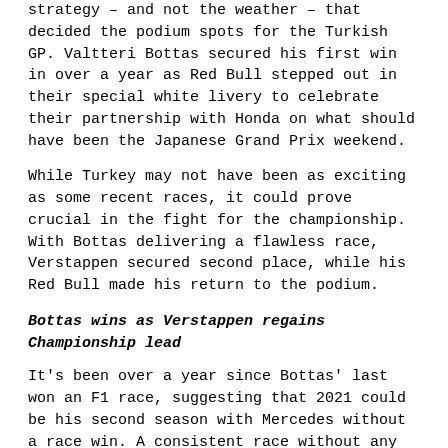strategy – and not the weather – that decided the podium spots for the Turkish GP. Valtteri Bottas secured his first win in over a year as Red Bull stepped out in their special white livery to celebrate their partnership with Honda on what should have been the Japanese Grand Prix weekend.
While Turkey may not have been as exciting as some recent races, it could prove crucial in the fight for the championship. With Bottas delivering a flawless race, Verstappen secured second place, while his Red Bull made his return to the podium.
Bottas wins as Verstappen regains Championship lead
It's been over a year since Bottas' last won an F1 race, suggesting that 2021 could be his second season with Mercedes without a race win. A consistent race without any errors saw that Finnish driver claim what may be his final F1 win with Mercedes.
His only competition came from Ferrari's Leclerc, who momentarily led the race after the Mercedes driver pitted for fresh tyres, while Ferrari debated staying out to the end of the race. With Bottas back on the top step of the podium for the first time in over a year, it's never been a better time to pick up his navy colour Mercedes driver cap.
This race saw Hamilton starting outside the top 10 due to an engine penalty, giving Verstappen his best chance to regain the